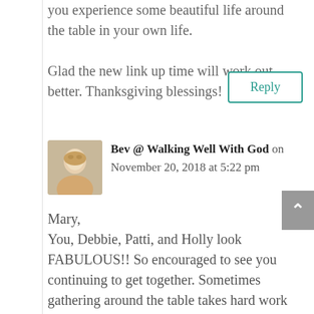you experience some beautiful life around the table in your own life.
Glad the new link up time will work out better. Thanksgiving blessings!
Reply
Bev @ Walking Well With God on November 20, 2018 at 5:22 pm
Mary,
You, Debbie, Patti, and Holly look FABULOUS!! So encouraged to see you continuing to get together. Sometimes gathering around the table takes hard work and effort, but so worth it!! Since I just had my gallbladder out (not planned)